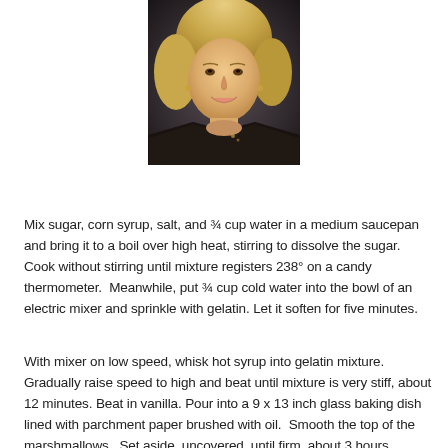[Figure (photo): Portrait photograph of a middle-aged blonde woman smiling, wearing a dark patterned jacket, photographed against a dark background.]
Mix sugar, corn syrup, salt, and ¾ cup water in a medium saucepan and bring it to a boil over high heat, stirring to dissolve the sugar.  Cook without stirring until mixture registers 238° on a candy thermometer.  Meanwhile, put ¾ cup cold water into the bowl of an electric mixer and sprinkle with gelatin. Let it soften for five minutes.
With mixer on low speed, whisk hot syrup into gelatin mixture. Gradually raise speed to high and beat until mixture is very stiff, about 12 minutes. Beat in vanilla. Pour into a 9 x 13 inch glass baking dish lined with parchment paper brushed with oil.  Smooth the top of the marshmallows.  Set aside, uncovered, until firm, about 3 hours.